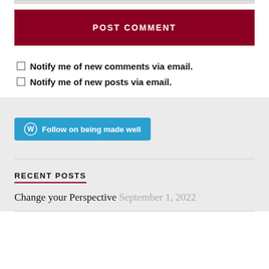POST COMMENT
Notify me of new comments via email.
Notify me of new posts via email.
Follow on being made well
RECENT POSTS
Change your Perspective  September 1, 2022